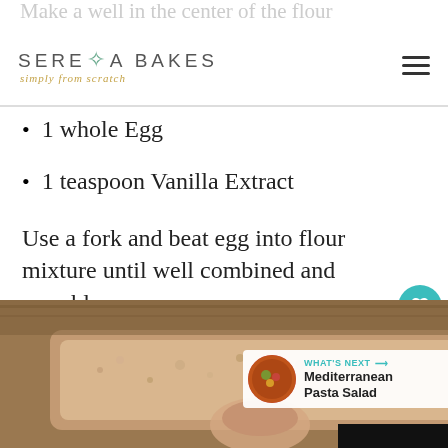Make a well in the center of the flour (faded, partially visible)
SERENA BAKES simply from scratch
1 whole Egg
1 teaspoon Vanilla Extract
Use a fork and beat egg into flour mixture until well combined and crumbly.
[Figure (photo): Overhead photo of a crumbly pasta or grain mixture in a pink/beige baking dish, with a hand visible. What's Next overlay showing Mediterranean Pasta Salad with circular food photo.]